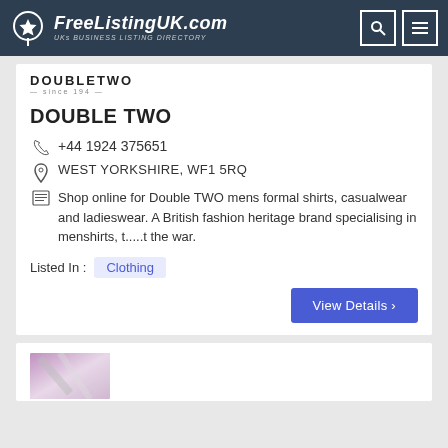FreeListingUK.com - UKs Business Listing Directory
[Figure (logo): DoubleTwo brand logo with text DOUBLETWO and 'since 194' tagline]
DOUBLE TWO
+44 1924 375651
WEST YORKSHIRE, WF1 5RQ
Shop online for Double TWO mens formal shirts, casualwear and ladieswear. A British fashion heritage brand specialising in menshirts, t.....t the war.
Listed In : Clothing
View Details >